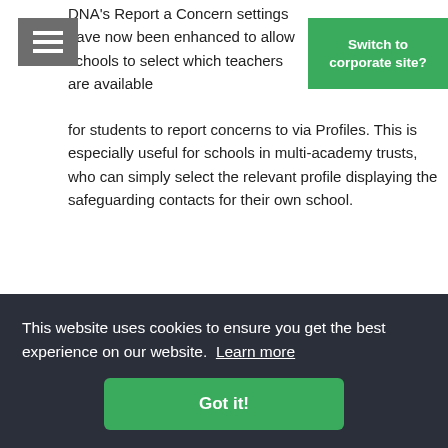[Figure (other): Hamburger/menu icon — three white horizontal lines on grey background]
[Figure (other): Green 'Switch to corporate site?' button in top-right corner]
DNA's Report a Concern settings have now been enhanced to allow schools to select which teachers are available for students to report concerns to via Profiles. This is especially useful for schools in multi-academy trusts, who can simply select the relevant profile displaying the safeguarding contacts for their own school.
New and enhanced platform support in v4.5
NetSupport DNA has extended its support to include iOS, Chrome, as well as enhancing its Mac OS X support, to help
This website uses cookies to ensure you get the best experience on our website.  Learn more
Got it!